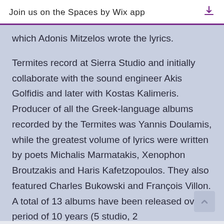Join us on the Spaces by Wix app
which Adonis Mitzelos wrote the lyrics.

Termites record at Sierra Studio and initially collaborate with the sound engineer Akis Golfidis and later with Kostas Kalimeris. Producer of all the Greek-language albums recorded by the Termites was Yannis Doulamis, while the greatest volume of lyrics were written by poets Michalis Marmatakis, Xenophon Broutzakis and Haris Kafetzopoulos. They also featured Charles Bukowski and François Villon. A total of 13 albums have been released over a period of 10 years (5 studio, 2